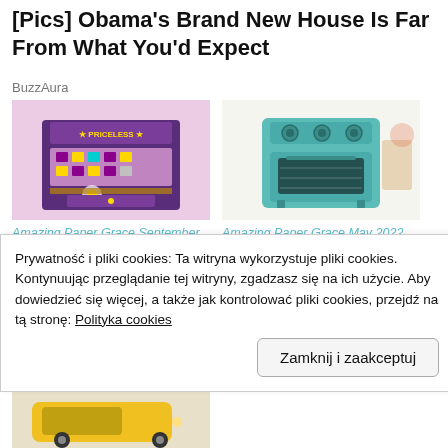[Pics] Obama's Brand New House Is Far From What You'd Expect
BuzzAura
[Figure (photo): Photo of a decorative paper craft vintage cash register, purple and pink, with 'PRICELESS' text]
Amazing Paper Grace September Die of the Month Blog Hop – Pop Up 3D Vignette Vintage Cash Register
Zwrześnie, 2021
[Figure (photo): Photo of a teal/mint retro miniature oven paper craft on white background]
Amazing Paper Grace May 2022 Die of the Month Blog Hop
4 Maj, 2022
W "Amazing Paper Grace DT"
Prywatność i pliki cookies: Ta witryna wykorzystuje pliki cookies. Kontynuując przeglądanie tej witryny, zgadzasz się na ich użycie. Aby dowiedzieć się więcej, a także jak kontrolować pliki cookies, przejdź na tą stronę: Polityka cookies
Zamknij i zaakceptuj
[Figure (photo): Partially visible photo at the bottom showing a yellow vehicle paper craft]